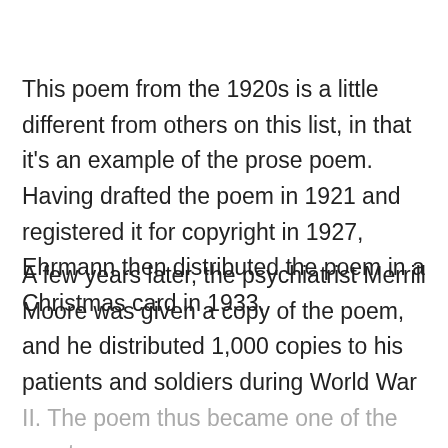This poem from the 1920s is a little different from others on this list, in that it's an example of the prose poem. Having drafted the poem in 1921 and registered it for copyright in 1927, Ehrmann then distributed the poem in a Christmas card in 1933.
A few years later, the psychiatrist Merrill Moore was given a copy of the poem, and he distributed 1,000 copies to his patients and soldiers during World War II. The poem thus became one of the great inspirational poetic messages of the twentieth